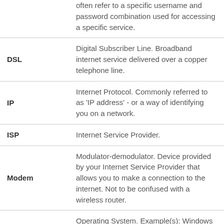| Term | Definition |
| --- | --- |
|  | often refer to a specific username and password combination used for accessing a specific service. |
| DSL | Digital Subscriber Line. Broadband internet service delivered over a copper telephone line. |
| IP | Internet Protocol. Commonly referred to as 'IP address' - or a way of identifying you on a network. |
| ISP | Internet Service Provider. |
| Modem | Modulator-demodulator. Device provided by your Internet Service Provider that allows you to make a connection to the internet. Not to be confused with a wireless router. |
| OS | Operating System. Example(s): Windows 8, Mac OS X Yosemite. |